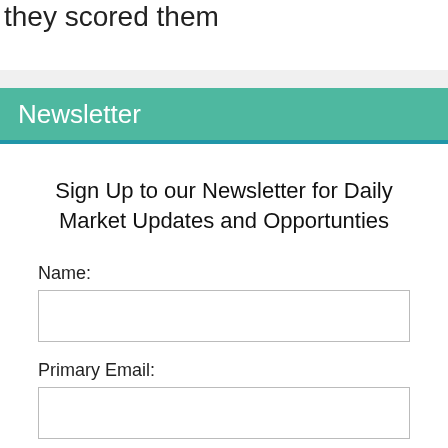they scored them
Newsletter
Sign Up to our Newsletter for Daily Market Updates and Opportunties
Name:
Primary Email:
Sign Up